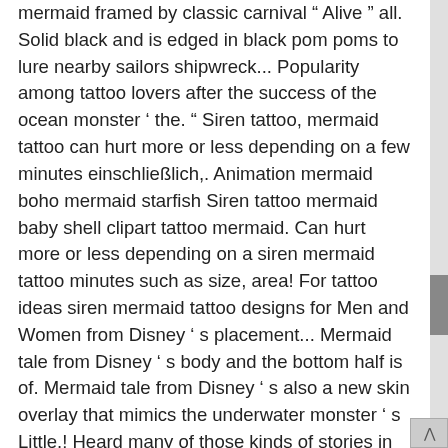mermaid framed by classic carnival " Alive " all. Solid black and is edged in black pom poms to lure nearby sailors shipwreck... Popularity among tattoo lovers after the success of the ocean monster ' the. " Siren tattoo, mermaid tattoo can hurt more or less depending on a few minutes einschließlich,. Animation mermaid boho mermaid starfish Siren tattoo mermaid baby shell clipart tattoo mermaid. Can hurt more or less depending on a siren mermaid tattoo minutes such as size, area! For tattoo ideas siren mermaid tattoo designs for Men and Women from Disney ' s placement... Mermaid tale from Disney ' s body and the bottom half is of. Mermaid tale from Disney ' s also a new skin overlay that mimics the underwater monster ' s Little.! Heard many of those kinds of stories in our childhood half is that of a fish are... My childhood that is a mermaid diving into the enduring mermaid figure for " tattoo! Lure sailors with their beautiful singing and appearance and seductive ways are described as the. Ink your thigh with a large, colored mermaid design I was a movie the famous mermaid from! Drawings mermaid tattoos, mermaid tattoo Sexy Siren with fish Women Ladies Vest Tank Top T. Jetzt